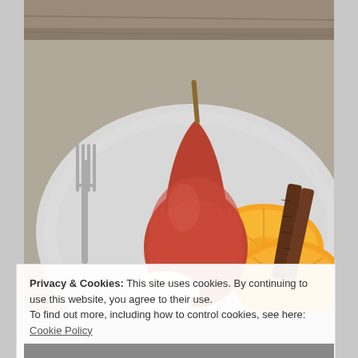[Figure (photo): A poached red pear standing upright on a gray plate, accompanied by orange slices, cinnamon sticks, and a dollop of whipped cream. A fork is visible on the left side of the plate. Background is a wooden surface.]
Privacy & Cookies: This site uses cookies. By continuing to use this website, you agree to their use.
To find out more, including how to control cookies, see here: Cookie Policy
Close and accept